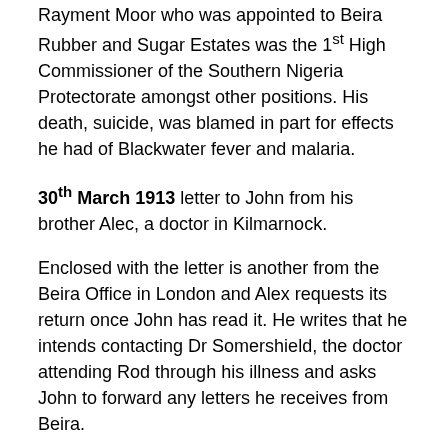Rayment Moor who was appointed to Beira Rubber and Sugar Estates was the 1st High Commissioner of the Southern Nigeria Protectorate amongst other positions. His death, suicide, was blamed in part for effects he had of Blackwater fever and malaria.
30th March 1913 letter to John from his brother Alec, a doctor in Kilmarnock.
Enclosed with the letter is another from the Beira Office in London and Alex requests its return once John has read it. He writes that he intends contacting Dr Somershield, the doctor attending Rod through his illness and asks John to forward any letters he receives from Beira.
Alec writes how depressed he is feeling and clearly concerned for their parents, enquires about their health, as well as that of John and his family.